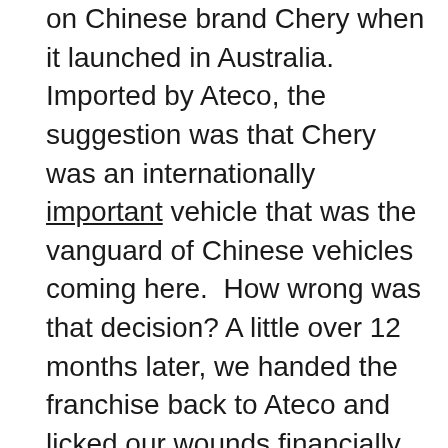on Chinese brand Chery when it launched in Australia. Imported by Ateco, the suggestion was that Chery was an internationally important vehicle that was the vanguard of Chinese vehicles coming here.  How wrong was that decision? A little over 12 months later, we handed the franchise back to Ateco and licked our wounds financially. Fast forward to 2012; other Chinese distributors came knocking on my door – Foton with its Tunland and MG Motors with their Chinese-built cars. Unfortunately for them and fortunately for me, the business case just didn't work. In 2015 Haval Australia, owned by Great Wall Motors, launched in Australia. Along with the Haval H6, the subject of this